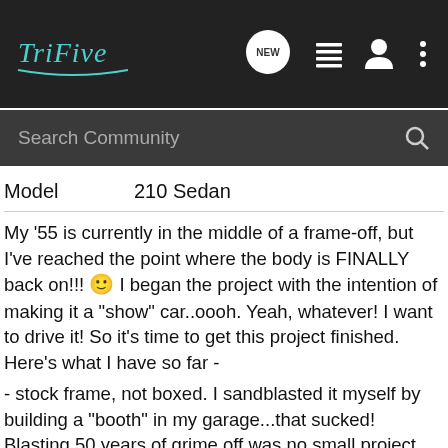TriFive [logo with search bar]
| Model | 210 Sedan |
| --- | --- |
My '55 is currently in the middle of a frame-off, but I've reached the point where the body is FINALLY back on!!! 🙂 I began the project with the intention of making it a &quot;show&quot; car..oooh. Yeah, whatever! I want to drive it! So it's time to get this project finished. Here's what I have so far -
- stock frame, not boxed. I sandblasted it myself by building a &quot;booth&quot; in my garage...that sucked! Blasting 50 years of grime off was no small project, but satisfying. And since it worked....I decided to build a cleaner &quot;booth&quot; and paint it myself. Again, no easy task! But it came out ok. I chose a battleship gray.